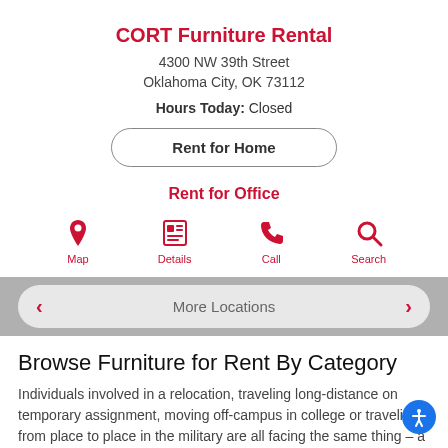CORT Furniture Rental
4300 NW 39th Street
Oklahoma City, OK 73112
Hours Today: Closed
Rent for Home
Rent for Office
[Figure (infographic): Four red icons: Map (location pin), Details (newspaper), Call (phone handset), Search (magnifying glass) with labels below each]
More Locations
Browse Furniture for Rent By Category
Individuals involved in a relocation, traveling long-distance on temporary assignment, moving off-campus in college or traveling from place to place in the military are all facing the same thing – a life in transition.